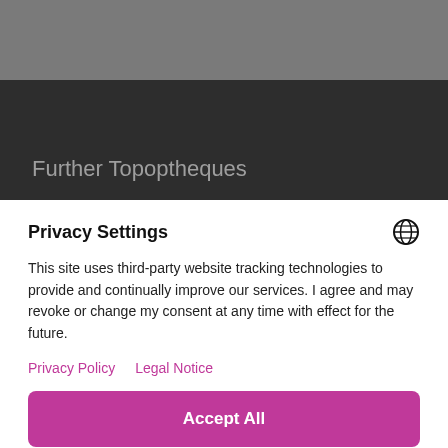[Figure (screenshot): Gray background top area]
Further Topoptheques
Privacy Settings
This site uses third-party website tracking technologies to provide and continually improve our services. I agree and may revoke or change my consent at any time with effect for the future.
Privacy Policy
Legal Notice
Accept All
More
Powered by Usercentrics Consent Management